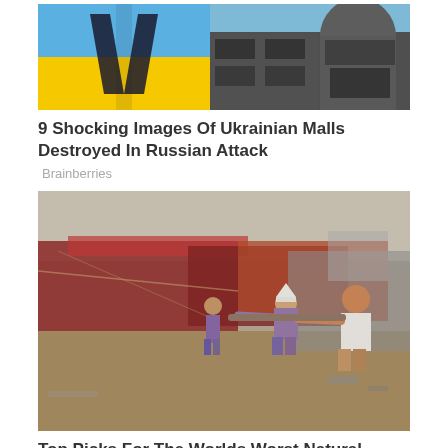[Figure (photo): Two side-by-side images: left shows Ukrainian flag graphic (blue and yellow), right shows a destroyed/burned building]
9 Shocking Images Of Ukrainian Malls Destroyed In Russian Attack
Brainberries
[Figure (photo): People pushing a large boat on a sandy beach after a natural disaster, boats and debris visible in background]
Top Picks For The Worlds Worst Natural Disasters In History
Brainberries